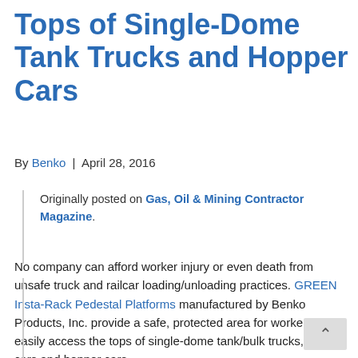Tops of Single-Dome Tank Trucks and Hopper Cars
By Benko | April 28, 2016
Originally posted on Gas, Oil & Mining Contractor Magazine.
No company can afford worker injury or even death from unsafe truck and railcar loading/unloading practices. GREEN Insta-Rack Pedestal Platforms manufactured by Benko Products, Inc. provide a safe, protected area for workers to easily access the tops of single-dome tank/bulk trucks, tank cars and hopper cars.